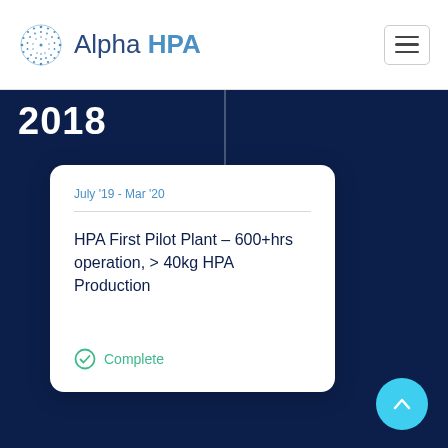Alpha HPA
2018
July '19 - Mar '20
HPA First Pilot Plant – 600+hrs operation, > 40kg HPA Production
Complete